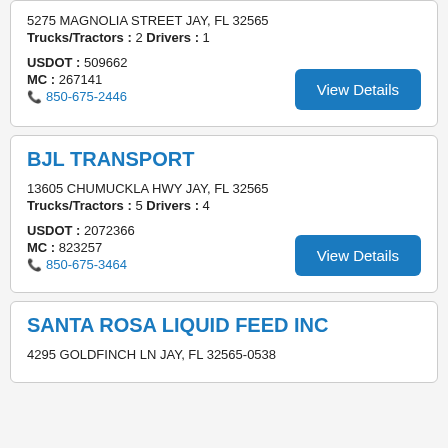5275 MAGNOLIA STREET JAY, FL 32565
Trucks/Tractors : 2 Drivers : 1
USDOT : 509662
MC : 267141
850-675-2446
BJL TRANSPORT
13605 CHUMUCKLA HWY JAY, FL 32565
Trucks/Tractors : 5 Drivers : 4
USDOT : 2072366
MC : 823257
850-675-3464
SANTA ROSA LIQUID FEED INC
4295 GOLDFINCH LN JAY, FL 32565-0538